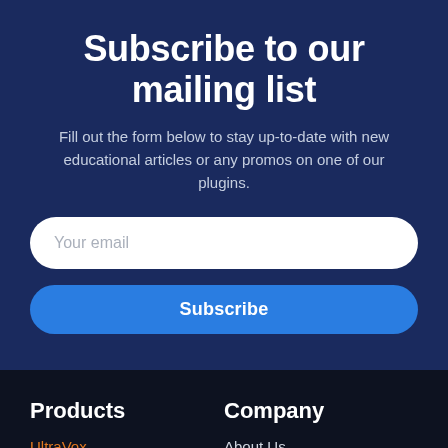Subscribe to our mailing list
Fill out the form below to stay up-to-date with new educational articles or any promos on one of our plugins.
Your email
Subscribe
Products
Company
UltraVox
About Us